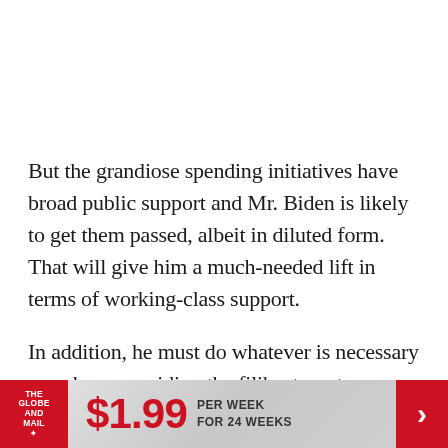But the grandiose spending initiatives have broad public support and Mr. Biden is likely to get them passed, albeit in diluted form. That will give him a much-needed lift in terms of working-class support.
In addition, he must do whatever is necessary – such as overriding the filibuster – to pass legislation protecting voter rights, which Republicans hold far
[Figure (other): The Globe and Mail advertisement banner: red logo on left with 'THE GLOBE AND MAIL' text and maple leaf, large red '$1.99' price text, 'PER WEEK FOR 24 WEEKS' text, red arrow chevron on right]